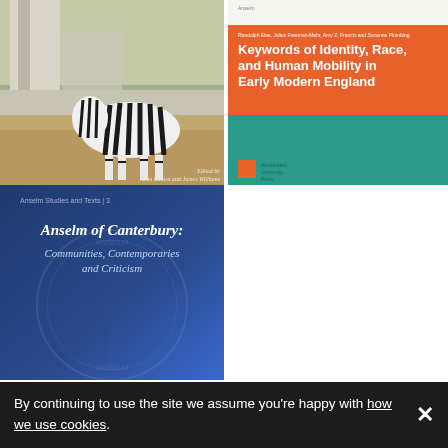[Figure (photo): Book cover showing a zebra standing in an outdoor setting with concrete structures. Editors: Avan Batura and James Williams.]
[Figure (photo): Book cover for 'Keywords of Identity, Race, and Human Mobility in Early Modern England'. Teal background with orange title bar. Published by Amsterdam University Press.]
[Figure (photo): Book cover for 'Anselm of Canterbury: Communities, Contemporaries and Criticism'. Dark blue background with a faint institutional seal. Series: Anselm Studies and Texts, 3.]
By continuing to use the site we assume you're happy with how we use cookies.